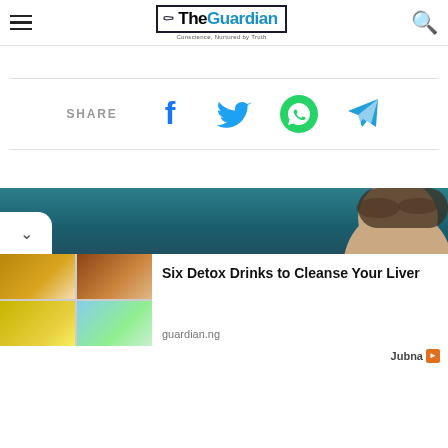The Guardian — Conscience, Nurtured by Truth
[Figure (infographic): Social share bar with Facebook, Twitter, WhatsApp, and Telegram icons]
[Figure (photo): Banner image with teal/dark teal background and partial view of a woman's face/head from the top]
[Figure (photo): Four-panel grid image of herbal teas and detox drinks]
Six Detox Drinks to Cleanse Your Liver
guardian.ng
Jubna